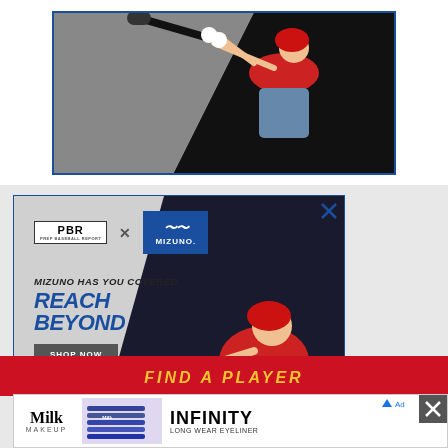[Figure (photo): Baseball player in red uniform swinging a black bat, top advertisement banner (partially cropped), dark background with blue border]
[Figure (photo): Mizuno x PBR advertisement: 'MIZUNO HAS YOU COVERED / REACH BEYOND' with SHOP NOW button and baseball player in red uniform swinging black bat. PBR and Mizuno logos at top. Blue X close button in upper right.]
[Figure (photo): Red banner at bottom with yellow italic text 'FIND A PLAYER' partially visible]
[Figure (photo): Milk Makeup Infinity Long Wear Eyeliner advertisement overlay at bottom with close button]